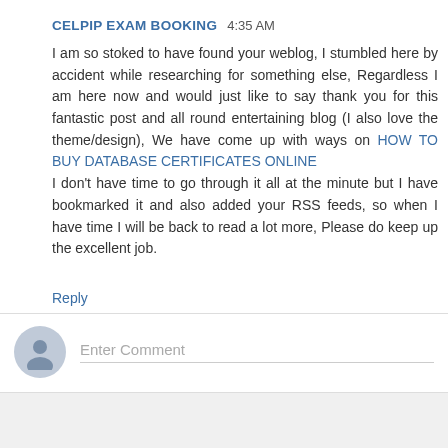CELPIP EXAM BOOKING  4:35 AM
I am so stoked to have found your weblog, I stumbled here by accident while researching for something else, Regardless I am here now and would just like to say thank you for this fantastic post and all round entertaining blog (I also love the theme/design), We have come up with ways on HOW TO BUY DATABASE CERTIFICATES ONLINE I don't have time to go through it all at the minute but I have bookmarked it and also added your RSS feeds, so when I have time I will be back to read a lot more, Please do keep up the excellent job.
Reply
Enter Comment